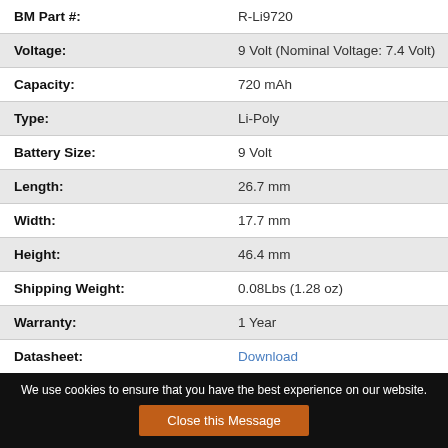| Attribute | Value |
| --- | --- |
| BM Part #: | R-Li9720 |
| Voltage: | 9 Volt (Nominal Voltage: 7.4 Volt) |
| Capacity: | 720 mAh |
| Type: | Li-Poly |
| Battery Size: | 9 Volt |
| Length: | 26.7 mm |
| Width: | 17.7 mm |
| Height: | 46.4 mm |
| Shipping Weight: | 0.08Lbs (1.28 oz) |
| Warranty: | 1 Year |
| Datasheet: | Download |
We use cookies to ensure that you have the best experience on our website.
Close this Message